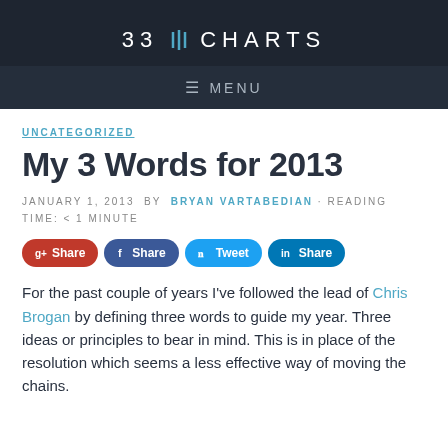33 CHARTS
MENU
UNCATEGORIZED
My 3 Words for 2013
JANUARY 1, 2013 BY BRYAN VARTABEDIAN · READING TIME: < 1 MINUTE
Share Share Tweet Share
For the past couple of years I've followed the lead of Chris Brogan by defining three words to guide my year.  Three ideas or principles to bear in mind.  This is in place of the resolution which seems a less effective way of moving the chains.